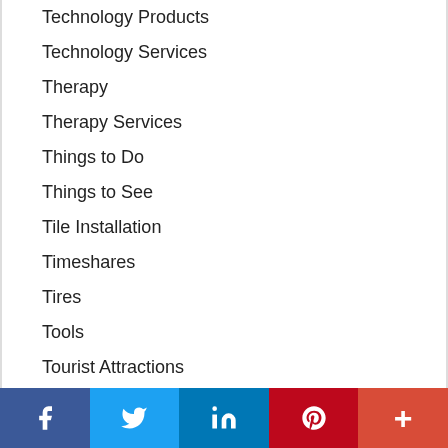Technology Products
Technology Services
Therapy
Therapy Services
Things to Do
Things to See
Tile Installation
Timeshares
Tires
Tools
Tourist Attractions
Tours
Towing
Trailers
Facebook Twitter LinkedIn Pinterest More